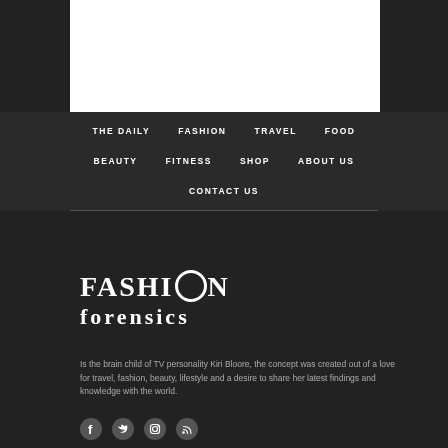[Figure (other): White rectangle area at top]
THE DAILY   FASHION   TRAVEL   FOOD   BEAUTY   FITNESS   SHOP   ABOUT US   CONTACT US
[Figure (logo): Fashion Forensics logo in white text on dark background]
Is the brain child of TV personality Kiri Bloore, the concept was created out of a love for travel, fashion, beauty, lifestyle and a desire to share her latest findings and knowledge with the world.
[Figure (other): Social media icons: Facebook, Twitter, Instagram, RSS feed]